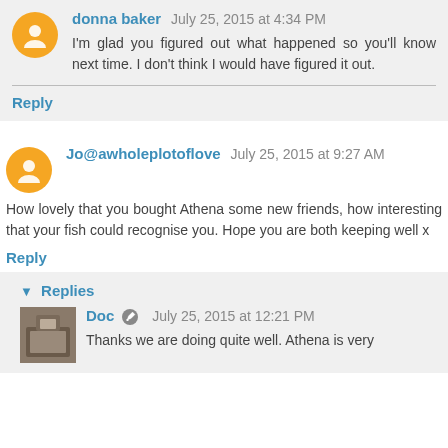donna baker July 25, 2015 at 4:34 PM
I'm glad you figured out what happened so you'll know next time. I don't think I would have figured it out.
Reply
Jo@awholeplotoflove July 25, 2015 at 9:27 AM
How lovely that you bought Athena some new friends, how interesting that your fish could recognise you. Hope you are both keeping well x
Reply
Replies
Doc July 25, 2015 at 12:21 PM
Thanks we are doing quite well. Athena is very